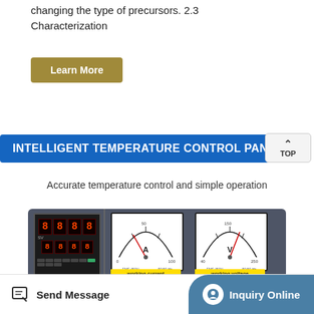changing the type of precursors. 2.3 Characterization
[Figure (other): Gold/olive colored 'Learn More' button]
INTELLIGENT TEMPERATURE CONTROL PANEL
Accurate temperature control and simple operation
[Figure (photo): Intelligent temperature control panel showing a digital controller with red LED displays, two analog gauges labeled A (working current) and V (working voltage) on a gray/dark panel]
Send Message   Inquiry Online